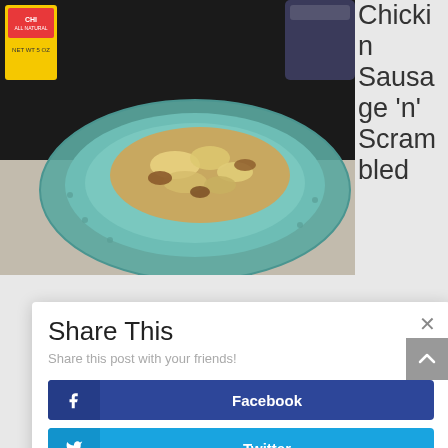[Figure (photo): Food photo showing scrambled eggs and sausage on a teal/blue decorative plate, with a yellow Cholula hot sauce bottle visible in the top left corner. Dark background.]
Chicken Sausage 'n' Scrambled
Share This
Share this post with your friends!
Facebook
Twitter
LinkedIn
Pinterest